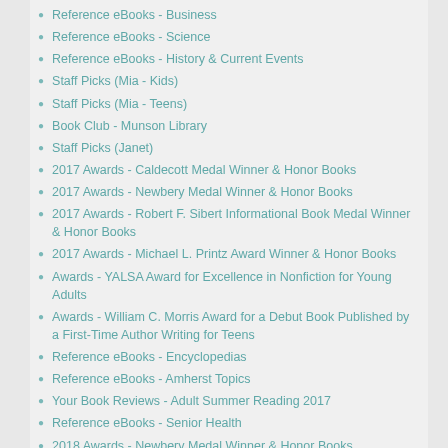Reference eBooks - Business
Reference eBooks - Science
Reference eBooks - History & Current Events
Staff Picks (Mia - Kids)
Staff Picks (Mia - Teens)
Book Club - Munson Library
Staff Picks (Janet)
2017 Awards - Caldecott Medal Winner & Honor Books
2017 Awards - Newbery Medal Winner & Honor Books
2017 Awards - Robert F. Sibert Informational Book Medal Winner & Honor Books
2017 Awards - Michael L. Printz Award Winner & Honor Books
Awards - YALSA Award for Excellence in Nonfiction for Young Adults
Awards - William C. Morris Award for a Debut Book Published by a First-Time Author Writing for Teens
Reference eBooks - Encyclopedias
Reference eBooks - Amherst Topics
Your Book Reviews - Adult Summer Reading 2017
Reference eBooks - Senior Health
2018 Awards - Newbery Medal Winner & Honor Books
2018 Awards - Caldecott Medal Winner & Honor Books
2018 Awards - Robert F. Sibert Informational Book Medal Winner & Honor Books